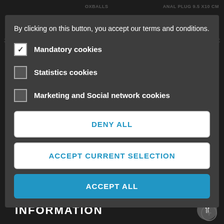OXBALLS
ANAL PLUG 9.5 X 10 CM
39,90 €
59,00 €
49,90 €
By clicking on this button, you accept our terms and conditions.
Mandatory cookies
Statistics cookies
Marketing and Social network cookies
DENY ALL
ACCEPT CURRENT SELECTION
ACCEPT ALL
NEWSLETTER
CATEGORIES
INFORMATION